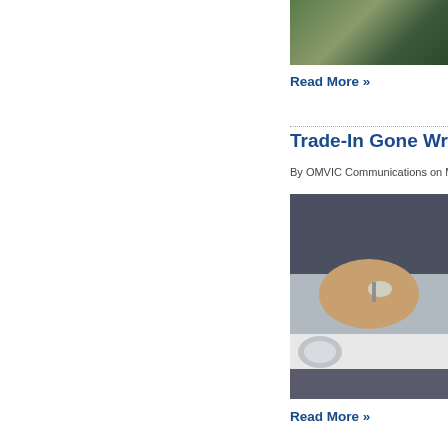[Figure (photo): Partial view of a vehicle in a parking area, top portion visible, green object in background]
Read More »
Trade-In Gone Wr…
By OMVIC Communications on Mo…
[Figure (photo): Two people exchanging car keys, hands visible holding keys, white vehicle in background]
Read More »